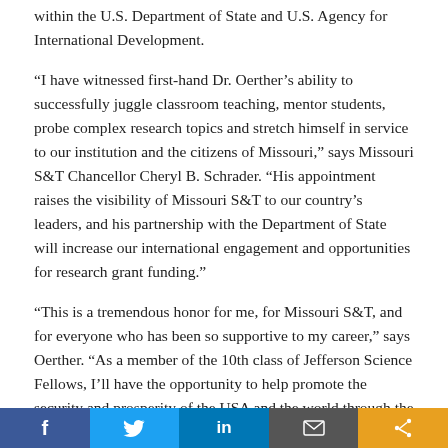within the U.S. Department of State and U.S. Agency for International Development.
“I have witnessed first-hand Dr. Oerther’s ability to successfully juggle classroom teaching, mentor students, probe complex research topics and stretch himself in service to our institution and the citizens of Missouri,” says Missouri S&T Chancellor Cheryl B. Schrader. “His appointment raises the visibility of Missouri S&T to our country’s leaders, and his partnership with the Department of State will increase our international engagement and opportunities for research grant funding.”
“This is a tremendous honor for me, for Missouri S&T, and for everyone who has been so supportive to my career,” says Oerther. “As a member of the 10th class of Jefferson Science Fellows, I’ll have the opportunity to help promote the security and prosperity of the USA and the world through the ideals of democracy informed by science, technology, engineering,